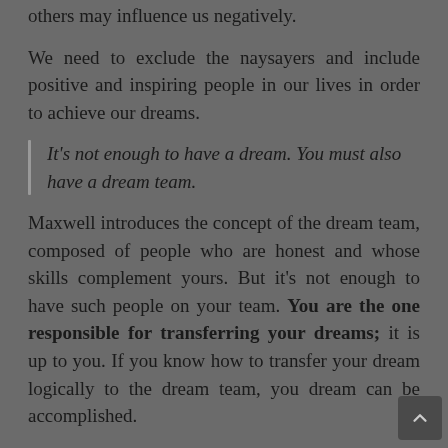others may influence us negatively.
We need to exclude the naysayers and include positive and inspiring people in our lives in order to achieve our dreams.
It's not enough to have a dream. You must also have a dream team.
Maxwell introduces the concept of the dream team, composed of people who are honest and whose skills complement yours. But it's not enough to have such people on your team. You are the one responsible for transferring your dreams; it is up to you. If you know how to transfer your dream logically to the dream team, you dream can be accomplished.